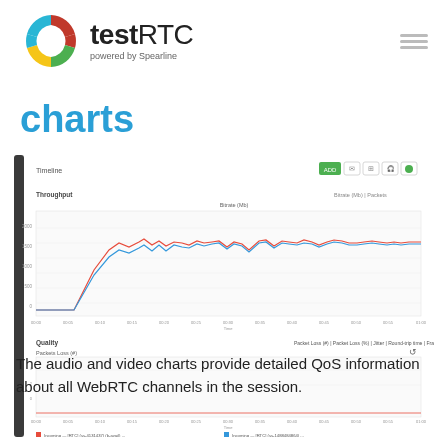testRTC powered by Spearline
charts
[Figure (screenshot): Screenshot of testRTC application showing Timeline charts with Throughput graph (Bitrate in Mb/s vs Packets) displaying two colored lines (red and blue) over time from 00:00 to 01:00, and a Quality section below showing Packet Loss (%), Jitter, Round-trip time, Frame Rate. Below the charts are two legend entries for Incoming and Outgoing streams.]
The audio and video charts provide detailed QoS information about all WebRTC channels in the session.